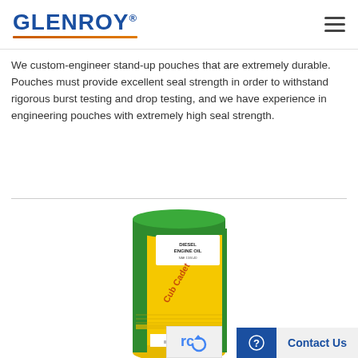GLENROY®
We custom-engineer stand-up pouches that are extremely durable. Pouches must provide excellent seal strength in order to withstand rigorous burst testing and drop testing, and we have experience in engineering pouches with extremely high seal strength.
[Figure (photo): A yellow cylindrical stand-up pouch with green top, labeled 'Cub Cadet Diesel Engine Oil', displayed upright against a white background.]
Contact Us